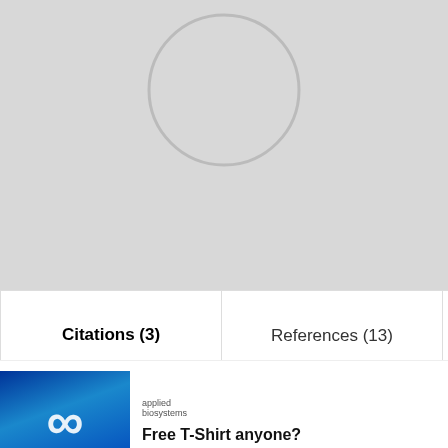[Figure (screenshot): Grey profile header area with circular arc at top, representing a social/academic profile page with no photo loaded]
Citations (3)
References (13)
[Figure (screenshot): Video thumbnail overlay: 'How to write a job post for a scientist, based on an analysis of how scientists have engaged with 2-million job posts' with play button on teal/office background image]
[Figure (logo): Applied Biosystems logo with infinity symbol on blue gradient background]
Free T-Shirt anyone?